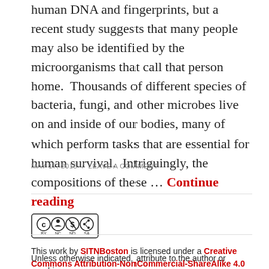human DNA and fingerprints, but a recent study suggests that many people may also be identified by the microorganisms that call that person home.  Thousands of different species of bacteria, fungi, and other microbes live on and inside of our bodies, many of which perform tasks that are essential for human survival.  Intriguingly, the compositions of these … Continue reading
MAY 17, 2015  /  LEAVE A COMMENT
[Figure (logo): Creative Commons BY NC SA license logo]
This work by SITNBoston is licensed under a Creative Commons Attribution-NonCommercial-ShareAlike 4.0 International License.
Unless otherwise indicated, attribute to the author or graphics